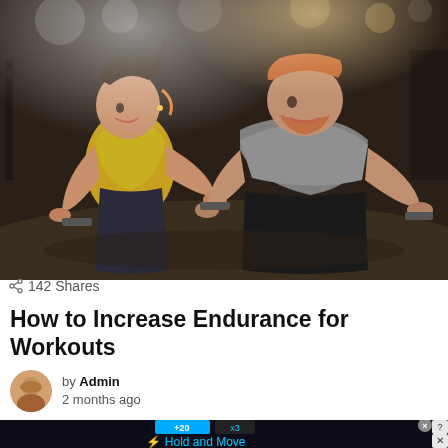[Figure (photo): Two people (a woman in yellow top and a man in grey shirt) doing push-up plank exercises on a gym floor, smiling at each other. Gym equipment visible in background.]
142 Shares
How to Increase Endurance for Workouts
by Admin
2 months ago
[Figure (screenshot): Advertisement banner showing 'Hold and Move' app/game with dark background, icons, and score display. Has close button with ? and X icons.]